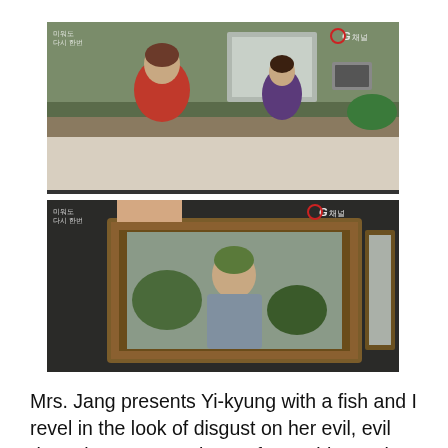[Figure (screenshot): TV drama screenshot showing a woman in a red sweater in a kitchen, with another woman in the background. A red channel logo is visible in the top right corner.]
[Figure (screenshot): TV drama screenshot showing a hand holding a framed photo of a young man in a military uniform or casual outfit. A red channel logo is visible in the top right corner.]
Mrs. Jang presents Yi-kyung with a fish and I revel in the look of disgust on her evil, evil doppelganger, murderess face! Yi-kyung is left with the fish and screams when she tries to